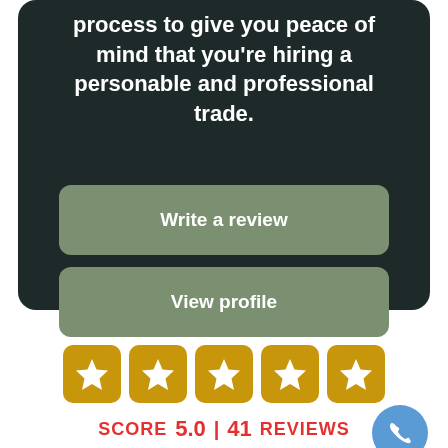process to give you peace of mind that you're hiring a personable and professional trade.
Write a review
View profile
[Figure (infographic): Five gold star rating boxes in a row]
SCORE 5.0 | 41 REVIEWS